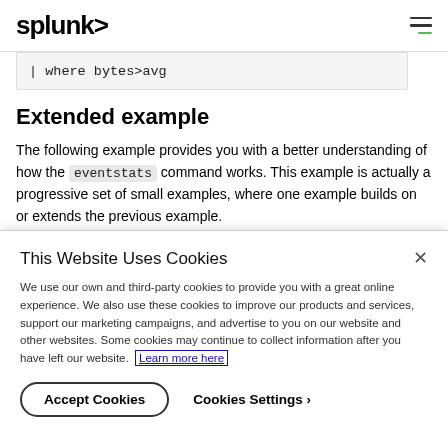splunk>
Extended example
The following example provides you with a better understanding of how the eventstats command works. This example is actually a progressive set of small examples, where one example builds on or extends the previous example.
It's much easier to see what the eventstats command does by
This Website Uses Cookies
We use our own and third-party cookies to provide you with a great online experience. We also use these cookies to improve our products and services, support our marketing campaigns, and advertise to you on our website and other websites. Some cookies may continue to collect information after you have left our website. Learn more here
Accept Cookies   Cookies Settings ›